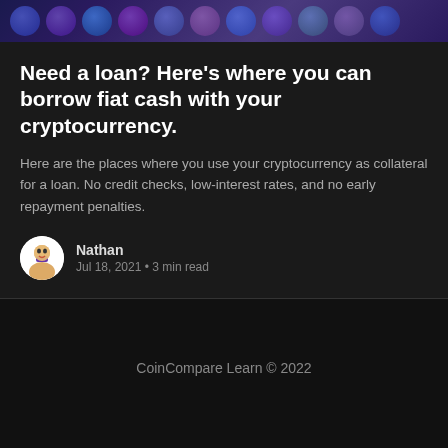[Figure (illustration): Dark banner with colorful circular cryptocurrency coin icons in blues, purples, and gradients]
Need a loan? Here's where you can borrow fiat cash with your cryptocurrency.
Here are the places where you use your cryptocurrency as collateral for a loan. No credit checks, low-interest rates, and no early repayment penalties.
Nathan
Jul 18, 2021 • 3 min read
CoinCompare Learn © 2022